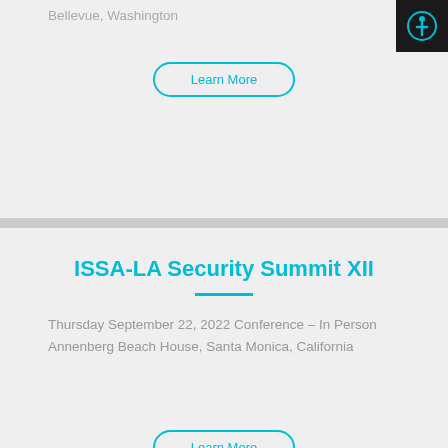Bellevue, Washington
Learn More
ISSA-LA Security Summit XII
Thursday September 22, 2022 Conference – In Person Annenberg Beach House, Santa Monica, California
Learn More
DEFCON 30
Thursday August 11, 2022 Conference – In Person